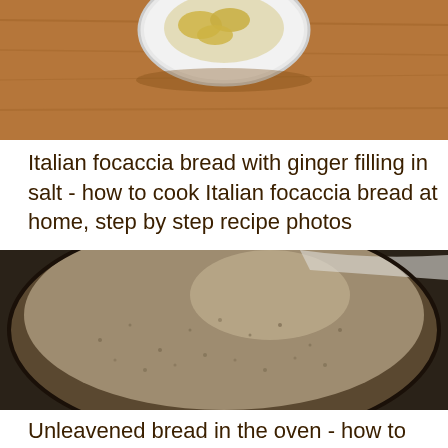[Figure (photo): Close-up of a white bowl with sliced ginger pieces in salt/liquid, on a wooden surface — top portion visible]
Italian focaccia bread with ginger filling in salt - how to cook Italian focaccia bread at home, step by step recipe photos
[Figure (photo): Close-up of risen bread dough in a bowl, showing a smooth domed surface with tiny bubbles and texture]
Unleavened bread in the oven - how to bake